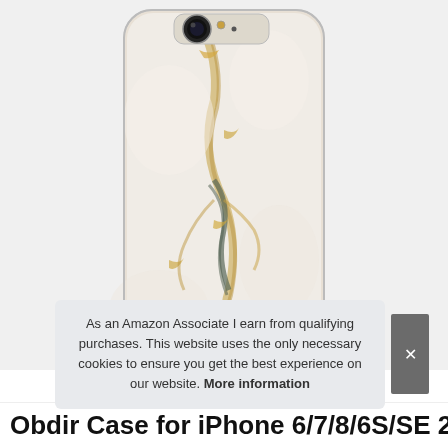[Figure (photo): Marble patterned iPhone case with white and gold marble design, shown from the back. The case has a camera cutout at the top. Product photo on white/light gray background.]
As an Amazon Associate I earn from qualifying purchases. This website uses the only necessary cookies to ensure you get the best experience on our website. More information
Obdir Case for iPhone 6/7/8/6S/SE 2nd